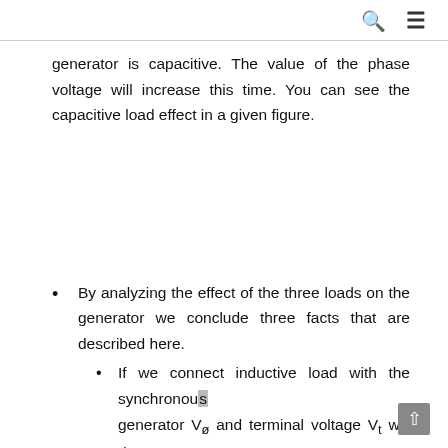🔍  ≡
generator is capacitive. The value of the phase voltage will increase this time. You can see the capacitive load effect in a given figure.
By analyzing the effect of the three loads on the generator we conclude three facts that are described here.
If we connect inductive load with the synchronous generator V_ø and terminal voltage V_t will decrease